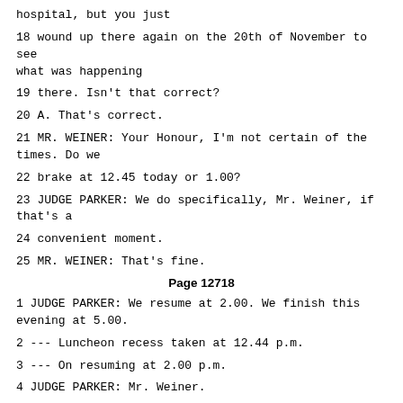hospital, but you just
18 wound up there again on the 20th of November to see what was happening
19 there. Isn't that correct?
20 A. That's correct.
21 MR. WEINER: Your Honour, I'm not certain of the times. Do we
22 brake at 12.45 today or 1.00?
23 JUDGE PARKER: We do specifically, Mr. Weiner, if that's a
24 convenient moment.
25 MR. WEINER: That's fine.
Page 12718
1 JUDGE PARKER: We resume at 2.00. We finish this evening at 5.00.
2 --- Luncheon recess taken at 12.44 p.m.
3 --- On resuming at 2.00 p.m.
4 JUDGE PARKER: Mr. Weiner.